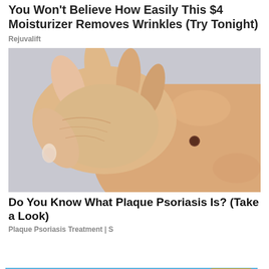You Won't Believe How Easily This $4 Moisturizer Removes Wrinkles (Try Tonight)
Rejuvalift
[Figure (photo): Close-up photo of a hand with fingers touching skin that has a dark mole/spot on it, medical/dermatological context]
Do You Know What Plaque Psoriasis Is? (Take a Look)
Plaque Psoriasis Treatment | S
[Figure (infographic): Advertisement banner for Jackson-Feild Mental Health Matters - Adolescent Psychiatric Residential Treatment, with Learn More button]